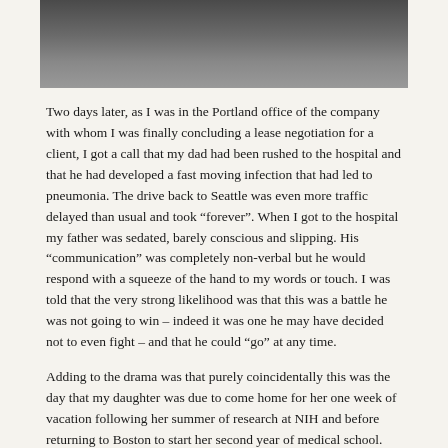[Figure (photo): A person's hands folded or clasped, photographed in close-up with dark clothing visible in the background. Black and white or desaturated photograph.]
Two days later, as I was in the Portland office of the company with whom I was finally concluding a lease negotiation for a client, I got a call that my dad had been rushed to the hospital and that he had developed a fast moving infection that had led to pneumonia.  The drive back to Seattle was even more traffic delayed than usual and took “forever”.  When I got to the hospital my father was sedated, barely conscious and slipping.  His “communication” was completely non-verbal but he would respond with a squeeze of the hand to my words or touch.  I was told that the very strong likelihood was that this was a battle he was not going to win – indeed it was one he may have decided not to even fight – and that he could “go” at any time.
Adding to the drama was that purely coincidentally this was the day that my daughter was due to come home for her one week of vacation following her summer of research at NIH and before returning to Boston to start her second year of medical school. She was very close to grandpa and it seemed important for her to